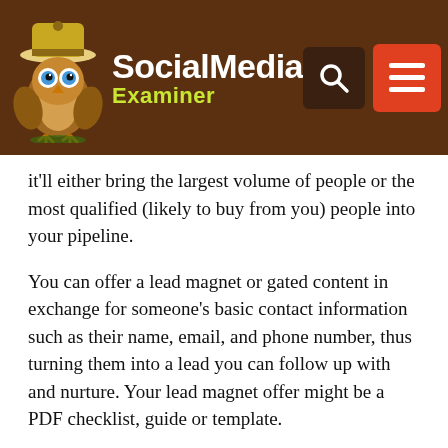[Figure (logo): Social Media Examiner website header with owl mascot logo, brand name 'Social Media Examiner', search button, and hamburger menu button on dark brown background]
it'll either bring the largest volume of people or the most qualified (likely to buy from you) people into your pipeline.
You can offer a lead magnet or gated content in exchange for someone's basic contact information such as their name, email, and phone number, thus turning them into a lead you can follow up with and nurture. Your lead magnet offer might be a PDF checklist, guide or template.
Your offer can also be a loss leader or a product preview that essentially presents someone with the opportunity to work with you without spending money, perhaps through a promo code or voucher